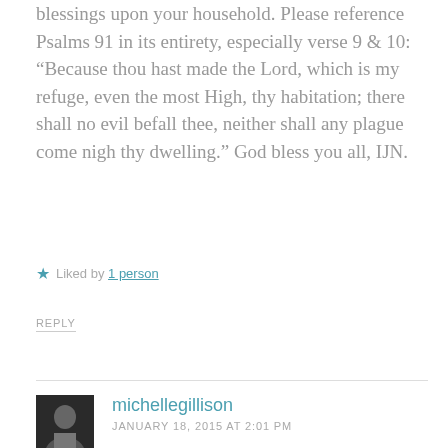blessings upon your household. Please reference Psalms 91 in its entirety, especially verse 9 & 10: “Because thou hast made the Lord, which is my refuge, even the most High, thy habitation; there shall no evil befall thee, neither shall any plague come nigh thy dwelling.” God bless you all, IJN.
Liked by 1 person
REPLY
michellegillison
JANUARY 18, 2015 AT 2:01 PM